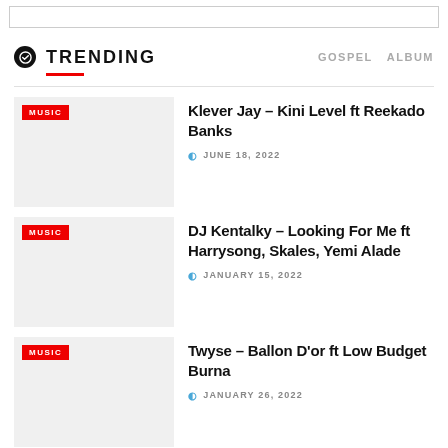TRENDING
Klever Jay – Kini Level ft Reekado Banks | JUNE 18, 2022
DJ Kentalky – Looking For Me ft Harrysong, Skales, Yemi Alade | JANUARY 15, 2022
Twyse – Ballon D'or ft Low Budget Burna | JANUARY 26, 2022